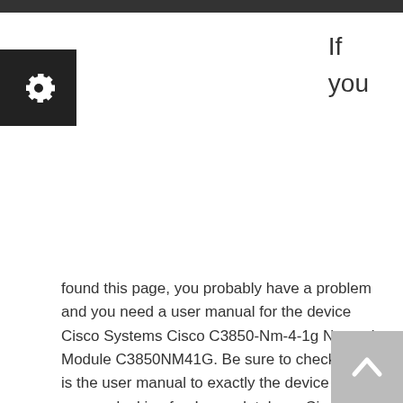[Figure (other): Dark top navigation bar]
[Figure (other): Gear/settings icon in black square on left side]
If you
found this page, you probably have a problem and you need a user manual for the device Cisco Systems Cisco C3850-Nm-4-1g Network Module C3850NM41G. Be sure to check that it is the user manual to exactly the device that you are looking for. In our database Cisco Systems Cisco C3850-Nm-4-1g Network Module C3850NM41G it belongs to the category Switch. A user
[Figure (other): Scroll to top button with upward chevron arrow, gray background, bottom right corner]